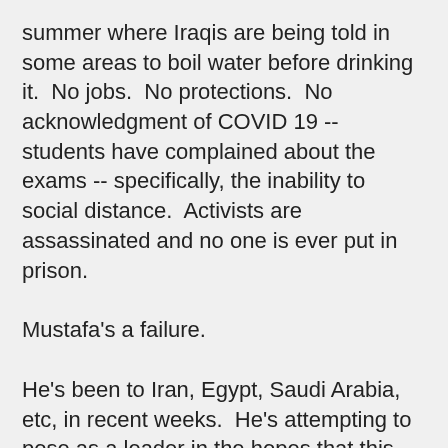summer where Iraqis are being told in some areas to boil water before drinking it.  No jobs.  No protections.  No acknowledgment of COVID 19 -- students have complained about the exams -- specifically, the inability to social distance.  Activists are assassinated and no one is ever put in prison.
Mustafa's a failure.
He's been to Iran, Egypt, Saudi Arabia, etc, in recent weeks.  He's attempting to pose as a leader in the hopes that this will garner him votes.  Leaders in the protest movement have stated that they will sit it out and so has Shi'ite cleric Moqtada al-Sadr.  Nouri al-Maliki, Iraq's former prime minister and forever thug, remains a formidable rival.